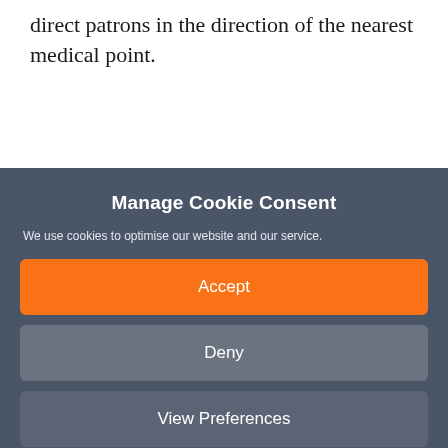direct patrons in the direction of the nearest medical point.
Manage Cookie Consent
We use cookies to optimise our website and our service.
Accept
Deny
View Preferences